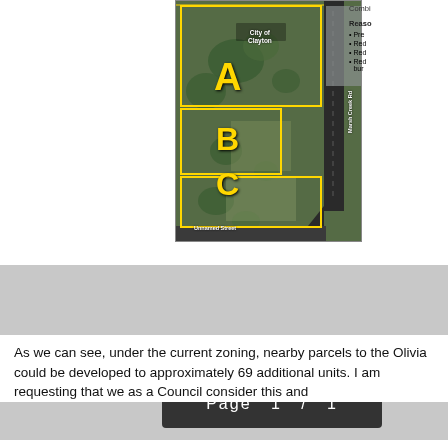[Figure (map): Aerial/satellite map showing parcels labeled A, B, and C in yellow outlined boxes, with Marsh Creek Rd on the right, City of Clayton label at top, and Unnamed Street at bottom.]
Combi...
Reasons...
Pre...
Red...
Red...
Red... bur...
Page  1  /  1
As we can see, under the current zoning, nearby parcels to the Olivia could be developed to approximately 69 additional units.  I am requesting that we as a Council consider this and